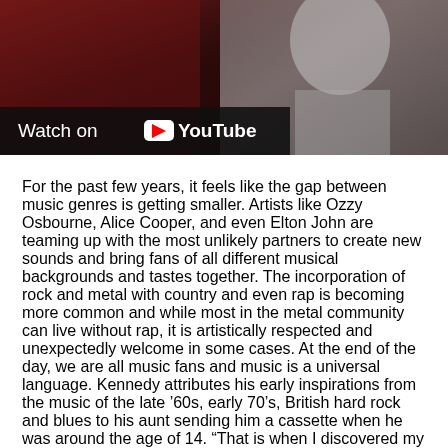[Figure (screenshot): YouTube video thumbnail showing a dark red/brown background with a partially visible figure on the right side. A 'Watch on YouTube' overlay bar appears at the bottom left of the thumbnail.]
For the past few years, it feels like the gap between music genres is getting smaller. Artists like Ozzy Osbourne, Alice Cooper, and even Elton John are teaming up with the most unlikely partners to create new sounds and bring fans of all different musical backgrounds and tastes together. The incorporation of rock and metal with country and even rap is becoming more common and while most in the metal community can live without rap, it is artistically respected and unexpectedly welcome in some cases. At the end of the day, we are all music fans and music is a universal language. Kennedy attributes his early inspirations from the music of the late '60s, early 70's, British hard rock and blues to his aunt sending him a cassette when he was around the age of 14. “That is when I discovered my love for music and became aware of the relationship I could have with music and in writing my own songs. Writing the music and writing the lyrics are very similar on a personal level. I can tap into a different way of songwriting when I write with Alter Bridge and for my solo stuff. I think because I feel most comfortable when I am playing guitar and